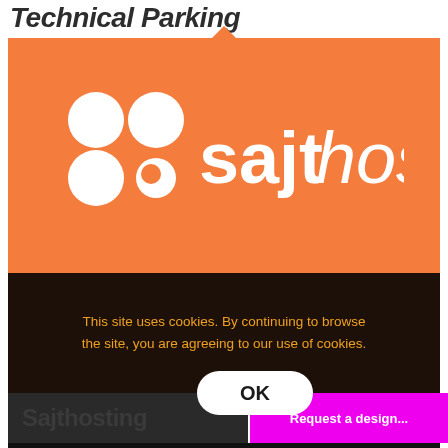Technical Parking
[Figure (logo): Sajthosting logo on orange background — four white circles arranged in a 2x2 grid pattern forming the icon, followed by the text 'sajthosting' in white where 'sajt' is bold and 'hosting' is italic]
This site uses cookies. By continuing to browse the site, you are agreeing to our use of cookies.
OK
Sajthosting
Request a design...